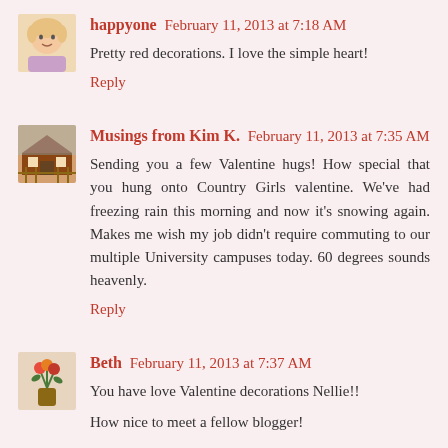happyone  February 11, 2013 at 7:18 AM
Pretty red decorations. I love the simple heart!
Reply
Musings from Kim K.  February 11, 2013 at 7:35 AM
Sending you a few Valentine hugs! How special that you hung onto Country Girls valentine. We've had freezing rain this morning and now it's snowing again. Makes me wish my job didn't require commuting to our multiple University campuses today. 60 degrees sounds heavenly.
Reply
Beth  February 11, 2013 at 7:37 AM
You have love Valentine decorations Nellie!!
How nice to meet a fellow blogger!